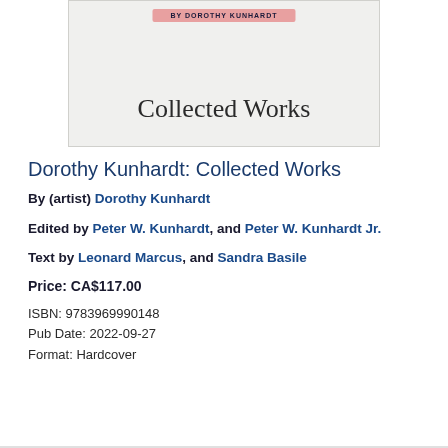[Figure (photo): Book cover image showing 'Collected Works' title text on a light background with a pink/red label at top reading 'BY DOROTHY KUNHARDT']
Dorothy Kunhardt: Collected Works
By (artist) Dorothy Kunhardt
Edited by Peter W. Kunhardt, and Peter W. Kunhardt Jr.
Text by Leonard Marcus, and Sandra Basile
Price: CA$117.00
ISBN: 9783969990148
Pub Date: 2022-09-27
Format: Hardcover